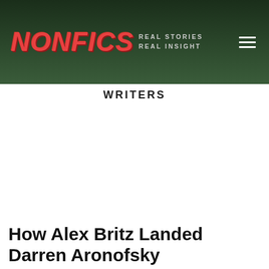NONFICS REAL STORIES REAL INSIGHT
WRITERS
How Alex Britz Landed Darren Aronofsky